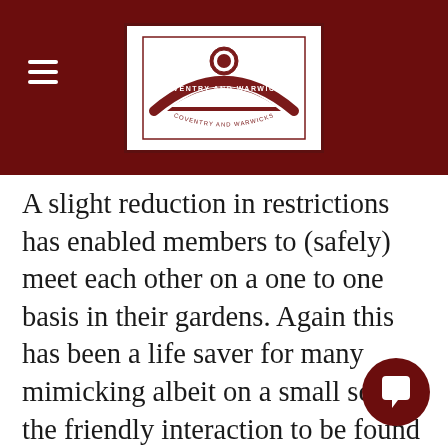[Figure (logo): Coventry and Warwick club logo — a boomerang/arch shape in dark red with text 'COVENTRY AND WARWICKS' on a white background with a dark red border]
A slight reduction in restrictions has enabled members to (safely) meet each other on a one to one basis in their gardens. Again this has been a life saver for many mimicking albeit on a small scale the friendly interaction to be found at the club. Future plans for the club are uncertain. It has a strong membership that will ensure that after the current crisis it will be able to pick up where it left off. The principal question is when this will be possible. For now though COVGOG remains a strong, viable and friendly club that is making the most of a difficult situation.